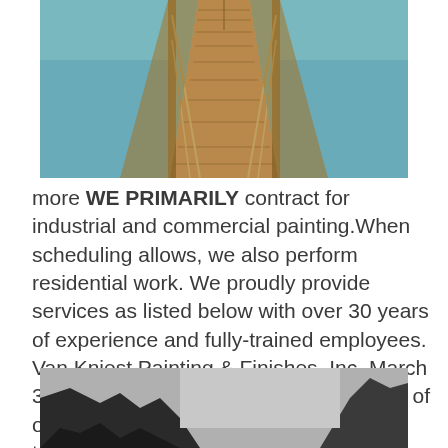[Figure (photo): A wooden dock/pier extending into calm water, viewed in perspective from one end, showing wooden planks and railings.]
more WE PRIMARILY contract for industrial and commercial painting.When scheduling allows, we also perform residential work. We proudly provide services as listed below with over 30 years of experience and fully-trained employees. Van Kniest Painting & Finishes, Inc. March 3 at 12:30 PM ·. Check out these photos of one of our recent bath remodel transformations!
[Figure (photo): A black and white photo partially visible, showing a dark rocky or mountainous landscape with a lighter grey background.]